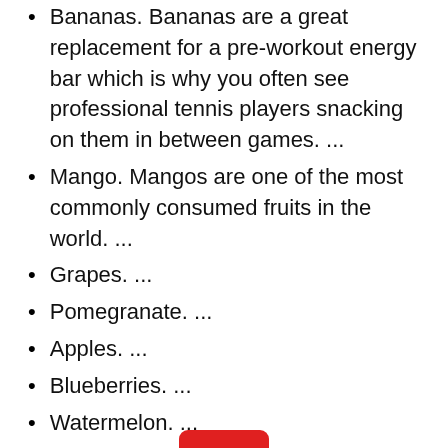Bananas. Bananas are a great replacement for a pre-workout energy bar which is why you often see professional tennis players snacking on them in between games. ...
Mango. Mangos are one of the most commonly consumed fruits in the world. ...
Grapes. ...
Pomegranate. ...
Apples. ...
Blueberries. ...
Watermelon. ...
Lemon.